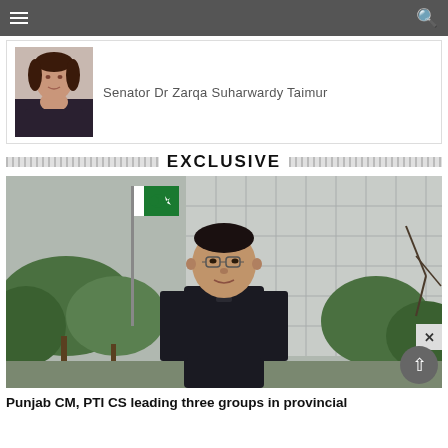Navigation bar with menu and search icons
[Figure (photo): Portrait photo of Senator Dr Zarqa Suharwardy Taimur, a woman with long dark hair wearing a dark outfit]
Senator Dr Zarqa Suharwardy Taimur
EXCLUSIVE
[Figure (photo): Man in dark sherwani standing outdoors in front of a building with a Pakistani flag visible on the left and trees in the background]
Punjab CM, PTI CS leading three groups in provincial